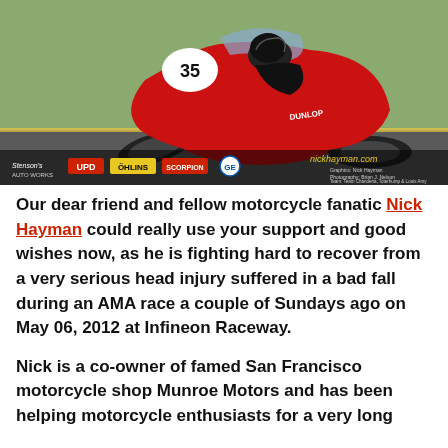[Figure (photo): A red racing motorcycle leaning hard into a corner on a racetrack. The bike has number 35 and sponsor logos including Dunlop, Öhlins, GE, and others. The bottom of the image shows sponsor logos and the website nickhayman.com.]
Our dear friend and fellow motorcycle fanatic Nick Hayman could really use your support and good wishes now, as he is fighting hard to recover from a very serious head injury suffered in a bad fall during an AMA race a couple of Sundays ago on May 06, 2012 at Infineon Raceway.
Nick is a co-owner of famed San Francisco motorcycle shop Munroe Motors and has been helping motorcycle enthusiasts for a very long